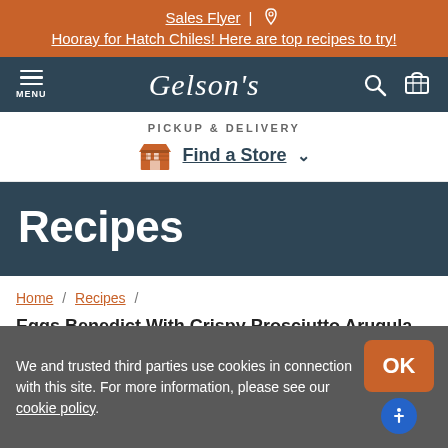Sales Flyer | Hooray for Hatch Chiles! Here are top recipes to try!
[Figure (logo): Gelson's grocery store navigation bar with hamburger menu, logo, search and cart icons]
PICKUP & DELIVERY Find a Store
Recipes
Home / Recipes / Eggs Benedict With Crispy Prosciutto Arugula Salad
We and trusted third parties use cookies in connection with this site. For more information, please see our cookie policy.